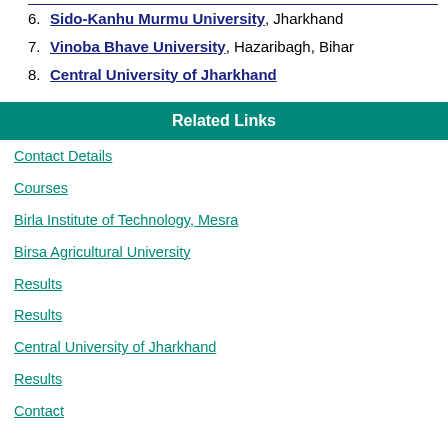6. Sido-Kanhu Murmu University, Jharkhand
7. Vinoba Bhave University, Hazaribagh, Bihar
8. Central University of Jharkhand
Related Links
Contact Details
Courses
Birla Institute of Technology, Mesra
Birsa Agricultural University
Results
Results
Central University of Jharkhand
Results
Contact